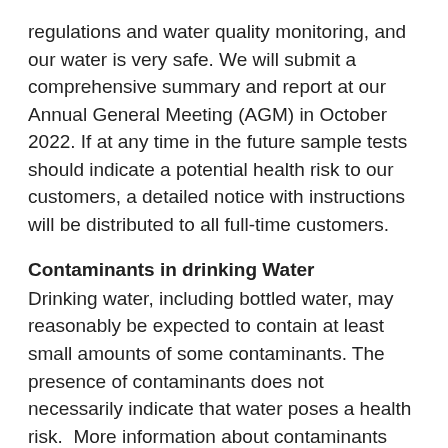regulations and water quality monitoring, and our water is very safe. We will submit a comprehensive summary and report at our Annual General Meeting (AGM) in October 2022. If at any time in the future sample tests should indicate a potential health risk to our customers, a detailed notice with instructions will be distributed to all full-time customers.
Contaminants in drinking Water
Drinking water, including bottled water, may reasonably be expected to contain at least small amounts of some contaminants. The presence of contaminants does not necessarily indicate that water poses a health risk.  More information about contaminants and potential health effects can be obtained by calling the EPA's Safe Drinking Water Hotline (1-800-426-4791).
Some people may be more vulnerable to contaminants in drinking water than the general population...